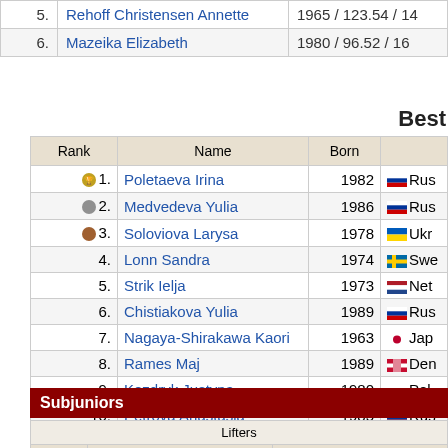| # | Name | Born/BW/Lot |
| --- | --- | --- |
| 5. | Rehoff Christensen Annette | 1965 / 123.54 / 14 |
| 6. | Mazeika Elizabeth | 1980 / 96.52 / 16 |
Best
| Rank | Name | Born |  |
| --- | --- | --- | --- |
| 🥇 1. | Poletaeva Irina | 1982 | Rus |
| 🥈 2. | Medvedeva Yulia | 1986 | Rus |
| 🥉 3. | Soloviova Larysa | 1978 | Ukr |
| 4. | Lonn Sandra | 1974 | Swe |
| 5. | Strik Ielja | 1973 | Net |
| 6. | Chistiakova Yulia | 1989 | Rus |
| 7. | Nagaya-Shirakawa Kaori | 1963 | Jap |
| 8. | Rames Maj | 1989 | Den |
| 9. | Kozdryk Justyna | 1980 | Pol |
| 10. | Petrova Anastasia | 1985 | Rus |
Subjuniors
| # | Name | Born/BW/Lot |
| --- | --- | --- |
| -43kg |  |  |
| 1. | Butorina Oksana | 1998 / 43.00 / 1 |
| -47kg |  |  |